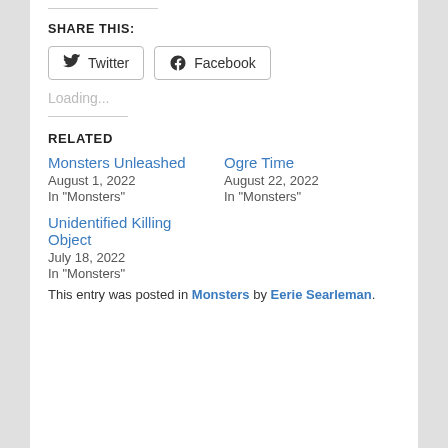SHARE THIS:
Twitter  Facebook
Loading...
RELATED
Monsters Unleashed
August 1, 2022
In "Monsters"
Ogre Time
August 22, 2022
In "Monsters"
Unidentified Killing Object
July 18, 2022
In "Monsters"
This entry was posted in Monsters by Eerie Searleman.